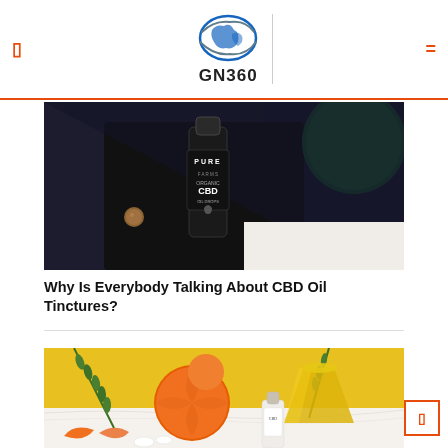GN360
[Figure (photo): A bottle labeled PURE CBD on a dark background with a green circular object]
Why Is Everybody Talking About CBD Oil Tinctures?
[Figure (photo): An orange, rosemary sprigs, a glass of yellow juice, and a CBD oil dropper bottle on a white marble surface]